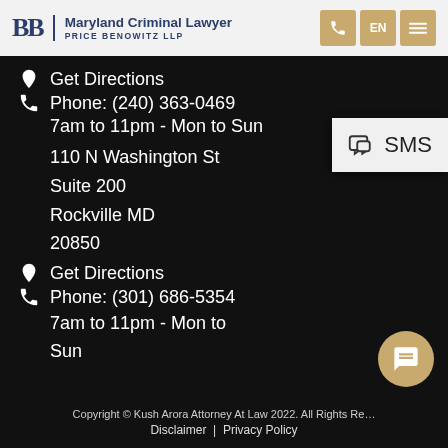Maryland Criminal Lawyer | PRICE BENOWITZ LLP
Get Directions
Phone: (240) 363-0469
7am to 11pm - Mon to Sun
110 N Washington St
Suite 200
Rockville MD
20850
Get Directions
Phone: (301) 686-5354
7am to 11pm - Mon to Sun
[Figure (infographic): SMS button panel overlay on right side]
Copyright © Kush Arora Attorney At Law 2022. All Rights Reserved. | Disclaimer | Privacy Policy